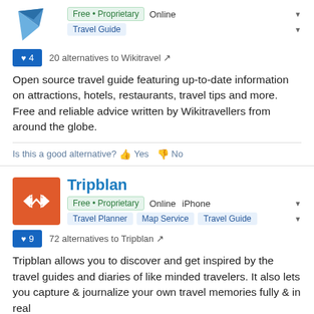[Figure (logo): Wikitravel logo - blue angular origami-style bird/arrow shape]
Free • Proprietary  Online
Travel Guide
♥ 4   20 alternatives to Wikitravel
Open source travel guide featuring up-to-date information on attractions, hotels, restaurants, travel tips and more. Free and reliable advice written by Wikitravellers from around the globe.
Is this a good alternative? 👍 Yes 👎 No
[Figure (logo): Tripblan logo - orange square with white wing/envelope icon]
Tripblan
Free • Proprietary  Online  iPhone
Travel Planner  Map Service  Travel Guide
♥ 9   72 alternatives to Tripblan
Tripblan allows you to discover and get inspired by the travel guides and diaries of like minded travelers. It also lets you capture & journalize your own travel memories fully & in real